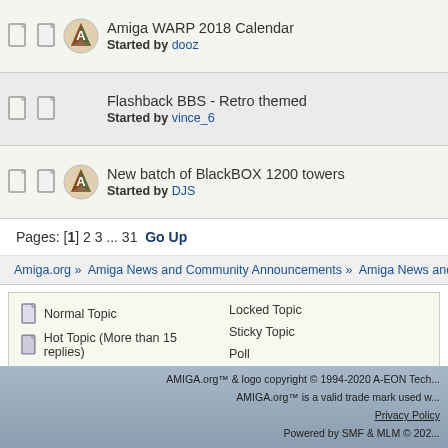Amiga WARP 2018 Calendar - Started by dooz
Flashback BBS - Retro themed - Started by vince_6
New batch of BlackBOX 1200 towers - Started by DJS
Pages: [1] 2 3 ... 31  Go Up
Amiga.org » Amiga News and Community Announcements » Amiga News and Communi...
Normal Topic | Hot Topic (More than 15 replies) | Very Hot Topic (More than 25 replies) | Locked Topic | Sticky Topic | Poll
AMIGA.org™ & logo copyright © 1994-2020 A-EON Tech... | AMIGA.org™ is a valid trade mark used w... | Privacy Policy | Powered by SMF & MLM © 202...